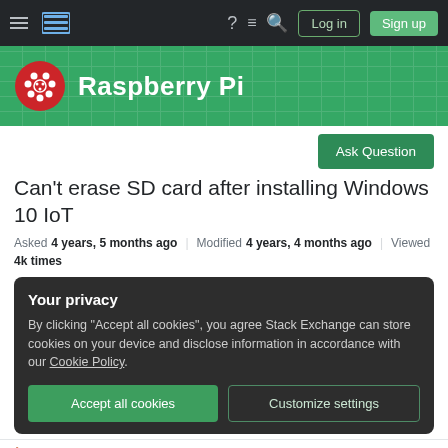Raspberry Pi Stack Exchange — navigation bar with Log in and Sign up buttons
[Figure (logo): Raspberry Pi logo with brand name header on green background]
Ask Question
Can't erase SD card after installing Windows 10 IoT
Asked 4 years, 5 months ago   Modified 4 years, 4 months ago   Viewed 4k times
Your privacy
By clicking "Accept all cookies", you agree Stack Exchange can store cookies on your device and disclose information in accordance with our Cookie Policy.
Accept all cookies   Customize settings